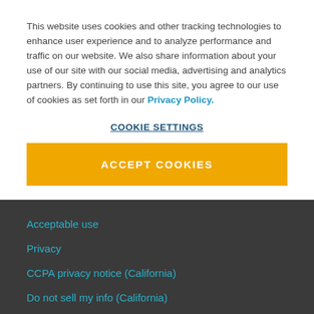This website uses cookies and other tracking technologies to enhance user experience and to analyze performance and traffic on our website. We also share information about your use of our site with our social media, advertising and analytics partners. By continuing to use this site, you agree to our use of cookies as set forth in our Privacy Policy.
COOKIE SETTINGS
ACCEPT COOKIES
Acceptable use
Privacy
CCPA privacy notice (California)
Do not sell my info (California)
Vendor ethics